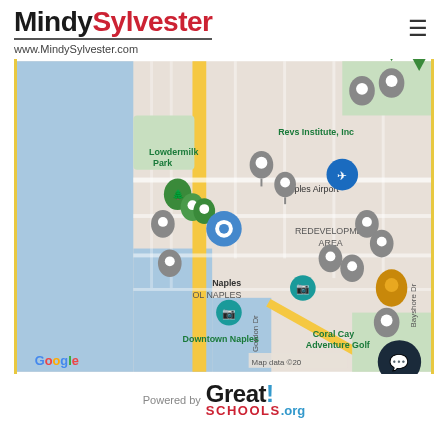MindySylvester www.MindySylvester.com
[Figure (map): Google Maps view of Naples, Florida area showing Downtown Naples, Lowdermilk Park, Revs Institute Inc, Naples Airport, Coral Cay Adventure Golf, and REDEVELOPMENT AREA with multiple colored location pins. Streets include Gordon Dr and Bayshore Dr. Map data copyright Google.]
Powered by Great! SCHOOLS.org